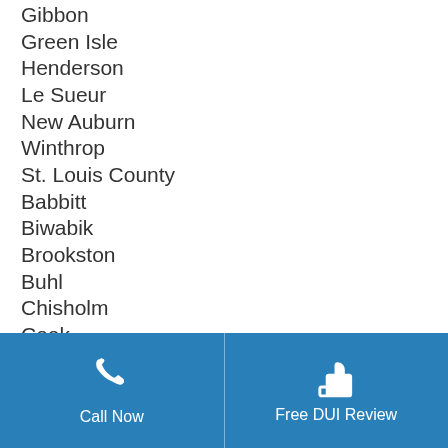Gibbon
Green Isle
Henderson
Le Sueur
New Auburn
Winthrop
St. Louis County
Babbitt
Biwabik
Brookston
Buhl
Chisholm
Cook
Duluth
Ely
Eveleth
Floodwood
Call Now | Free DUI Review